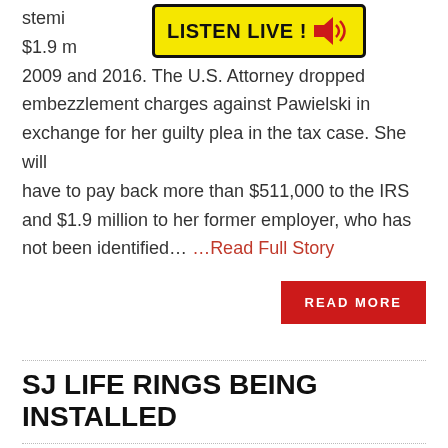stemming from more than $1.9 million she had taken between 2009 and 2016. The U.S. Attorney dropped embezzlement charges against Pawielski in exchange for her guilty plea in the tax case. She will have to pay back more than $511,000 to the IRS and $1.9 million to her former employer, who has not been identified… …Read Full Story
[Figure (other): LISTEN LIVE! banner with yellow background, bold black text and red speaker icon]
READ MORE
SJ LIFE RINGS BEING INSTALLED
JUNE 4, 2018   LOCAL NEWS
[Figure (photo): Partial photograph showing what appears to be a pole or post against a grey sky background]